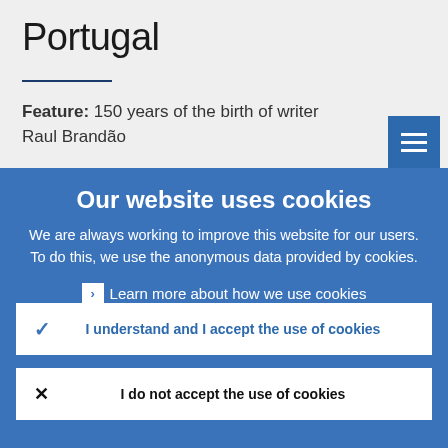Portugal
Feature: 150 years of the birth of writer Raul Brandão
Our website uses cookies
We are always working to improve this website for our users. To do this, we use the anonymous data provided by cookies.
› Learn more about how we use cookies
I understand and I accept the use of cookies
I do not accept the use of cookies